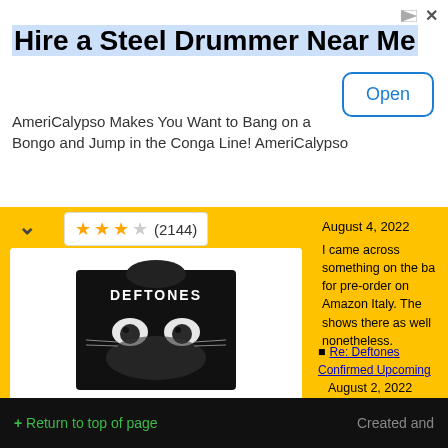[Figure (infographic): Amazon advertisement banner for AmeriCalypso - Hire a Steel Drummer Near Me with Open button]
[Figure (photo): Deftones Men's Sphynx T-Shirt product image - black t-shirt with cat face graphic and DEFTONES text]
^ (2144)
Deftones Men's Sphynx T-Shirt Large Black
$20.79 $29.47
(8)
August 4, 2022
I came across something on the ba for pre-order on Amazon Italy. The shows there as well nonetheless.
Re: Deftones Confirmed Upcoming August 2, 2022
Quote from: Inkblades on Aug 02, been announced with Turnstile, Ph Boys, Provoker, Cold Gawd and D
Ads by Amazon
+ Return to top of page    Created and